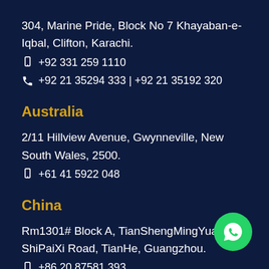304, Marine Pride, Block No 7 Khayaban-e-Iqbal, Clifton, Karachi.
+92 331 259 1110
+92 21 35294 333 | +92 21 35192 320
Australia
2/11 Hillview Avenue, Gwynneville, New South Wales, 2500.
+61 41 5922 048
China
Rm1301# Block A, TianShengMingYuan, ShiPaiXi Road, TianHe, Guangzhou.
+86 20 87581 393